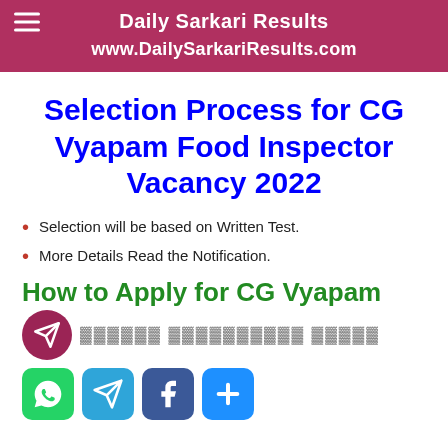Daily Sarkari Results
www.DailySarkariResults.com
Selection Process for CG Vyapam Food Inspector Vacancy 2022
Selection will be based on Written Test.
More Details Read the Notification.
How to Apply for CG Vyapam
[Figure (other): Telegram channel banner with icon and redacted text]
[Figure (other): Social media share buttons: WhatsApp, Telegram, Facebook, More]